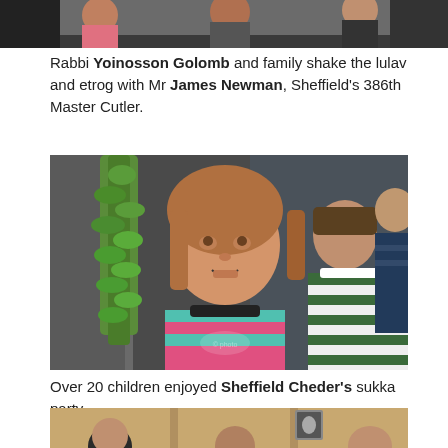[Figure (photo): Top portion of a group photo, cropped — showing people at top of frame including a child in pink and adults]
Rabbi Yoinosson Golomb and family shake the lulav and etrog with Mr James Newman, Sheffield's 386th Master Cutler.
[Figure (photo): A young girl with shoulder-length reddish-brown hair smiling and holding a lulav (green palm branch). Behind her two boys, one in a striped green and white sweater, another in dark blue. Indoor setting.]
Over 20 children enjoyed Sheffield Cheder's sukka party.
[Figure (photo): Partial view of people indoors, wooden door and wall visible, a framed picture on the wall]